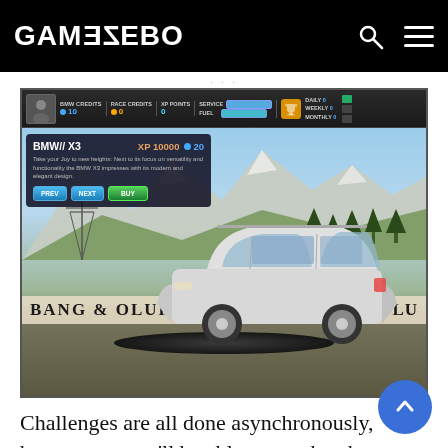GAMEZEBO
[Figure (screenshot): Screenshot of a BMW driving game showing a BMW X3 car on a turntable display. The game HUD shows BMW Credits: 10, Race Credits: 0, XP Points: 0, Service/Fuel bars, Daily/Weekly/Monthly counters, and a trophy icon. A car info panel shows BMW// X3, XP 10000, 20 coins with description text and PREV/NEXT/BUY buttons. The background shows mountains, trees, and a 'BANG & OLUFSEN' banner.]
Challenges are all done asynchronously, but as race, you'll be able to see the ghost version of challenger cars race around the track. As it stands